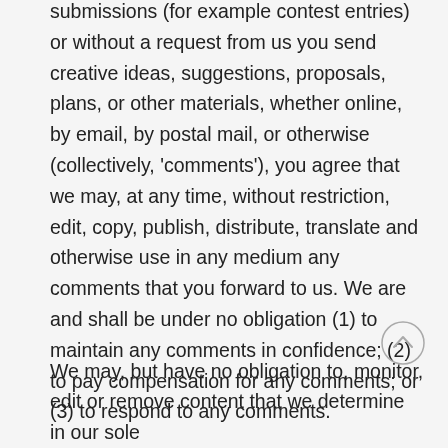submissions (for example contest entries) or without a request from us you send creative ideas, suggestions, proposals, plans, or other materials, whether online, by email, by postal mail, or otherwise (collectively, 'comments'), you agree that we may, at any time, without restriction, edit, copy, publish, distribute, translate and otherwise use in any medium any comments that you forward to us. We are and shall be under no obligation (1) to maintain any comments in confidence; (2) to pay compensation for any comments; or (3) to respond to any comments.
We may, but have no obligation to, monitor, edit or remove content that we determine in our sole